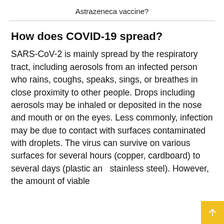Astrazeneca vaccine?
How does COVID-19 spread?
SARS-CoV-2 is mainly spread by the respiratory tract, including aerosols from an infected person who rains, coughs, speaks, sings, or breathes in close proximity to other people. Drops including aerosols may be inhaled or deposited in the nose and mouth or on the eyes. Less commonly, infection may be due to contact with surfaces contaminated with droplets. The virus can survive on various surfaces for several hours (copper, cardboard) to several days (plastic and stainless steel). However, the amount of viable